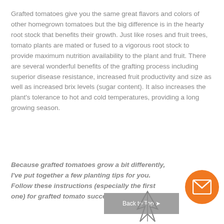Grafted tomatoes give you the same great flavors and colors of other homegrown tomatoes but the big difference is in the hearty root stock that benefits their growth. Just like roses and fruit trees, tomato plants are mated or fused to a vigorous root stock to provide maximum nutrition availability to the plant and fruit. There are several wonderful benefits of the grafting process including superior disease resistance, increased fruit productivity and size as well as increased brix levels (sugar content). It also increases the plant's tolerance to hot and cold temperatures, providing a long growing season.
Because grafted tomatoes grow a bit differently, I've put together a few planting tips for you. Follow these instructions (especially the first one) for grafted tomato success!
[Figure (illustration): Orange circular email/envelope button icon]
[Figure (illustration): Gray 'Back to Top' button with arrow, and a partial tomato plant illustration]